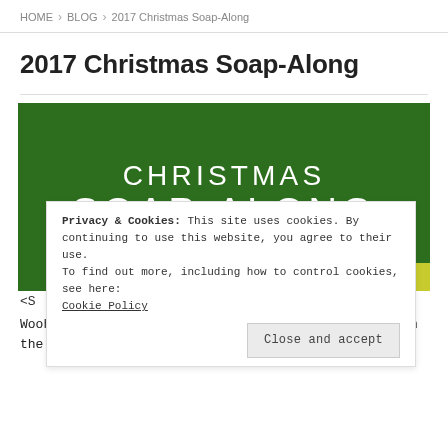HOME > BLOG > 2017 Christmas Soap-Along
2017 Christmas Soap-Along
[Figure (illustration): Green banner image with white uppercase text reading 'CHRISTMAS SOAP-ALONG' in a thin font style on a dark green background.]
Privacy & Cookies: This site uses cookies. By continuing to use this website, you agree to their use.
To find out more, including how to control cookies, see here: Cookie Policy
Close and accept
<S
Woohoo! It's a Soap-Along! This has been a while in the